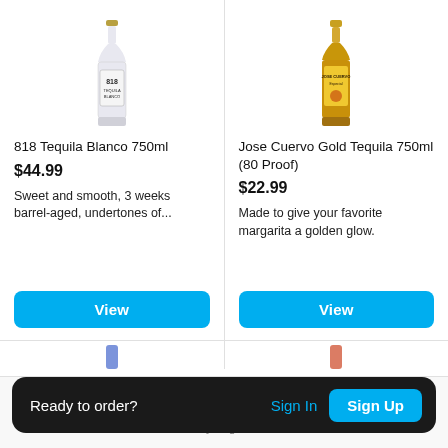[Figure (photo): 818 Tequila Blanco 750ml bottle — clear glass bottle with black and gold label]
818 Tequila Blanco 750ml
$44.99
Sweet and smooth, 3 weeks barrel-aged, undertones of...
[Figure (photo): Jose Cuervo Gold Tequila 750ml bottle — amber/gold liquid in glass bottle with yellow label]
Jose Cuervo Gold Tequila 750ml (80 Proof)
$22.99
Made to give your favorite margarita a golden glow.
Ready to order? Sign In Sign Up
Home   My Bag   Referrals